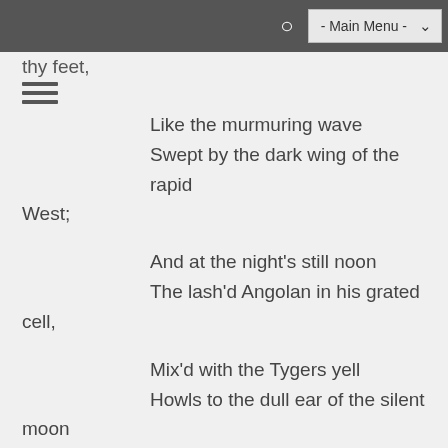- Main Menu -
thy feet,
Like the murmuring wave
Swept by the dark wing of the rapid West;

And at the night's still noon
The lash'd Angolan in his grated cell,

Mix'd with the Tygers yell
Howls to the dull ear of the silent moon

But come thou Goddess blithe & free

Thou mountain-maid sweet Liberty,
With buskined knee & bosom bare,
Thy tresses floating on the air:
Come, & treading on thy feet